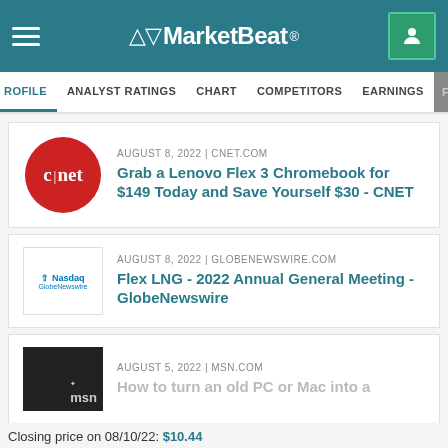MarketBeat
PROFILE | ANALYST RATINGS | CHART | COMPETITORS | EARNINGS | FINANCIALS
AUGUST 8, 2022 | CNET.COM
Grab a Lenovo Flex 3 Chromebook for $149 Today and Save Yourself $30 - CNET
AUGUST 8, 2022 | GLOBENEWSWIRE.COM
Flex LNG - 2022 Annual General Meeting - GlobeNewswire
AUGUST 5, 2022 | MSN.COM
How to turn an old PC or Mac into a
SEE MORE HEADLINES >
Closing price on 08/10/22: $10.44